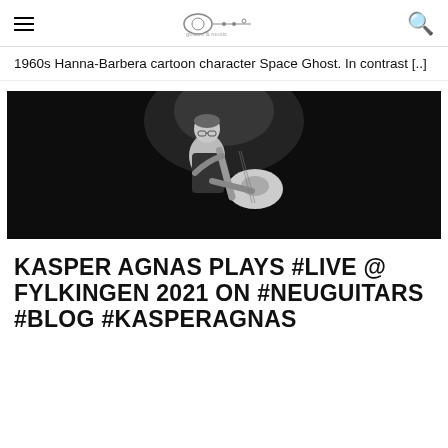☰ [logo] 🔍
1960s Hanna-Barbera cartoon character Space Ghost. In contrast [..]
[Figure (photo): Black and white photo of Kasper Agnas playing an electric guitar on stage, wearing glasses and a dark shirt, performing live.]
KASPER AGNAS PLAYS #LIVE @ FYLKINGEN 2021 ON #NEUGUITARS #BLOG #KASPERAGNAS